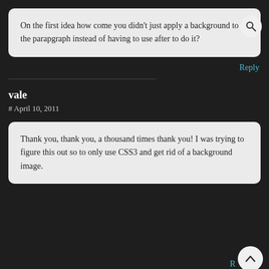On the first idea how come you didn't just apply a background to the parapgraph instead of having to use after to do it?
Reply
vale
# April 10, 2011
Thank you, thank you, a thousand times thank you! I was trying to figure this out so to only use CSS3 and get rid of a background image.
R